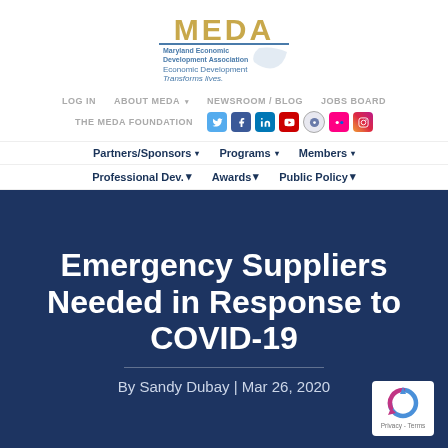[Figure (logo): MEDA Maryland Economic Development Association logo with tagline 'Economic Development Transforms lives.']
LOG IN | ABOUT MEDA | NEWSROOM / BLOG | JOBS BOARD | THE MEDA FOUNDATION
Partners/Sponsors | Programs | Members | Professional Dev. | Awards | Public Policy
Emergency Suppliers Needed in Response to COVID-19
By Sandy Dubay | Mar 26, 2020